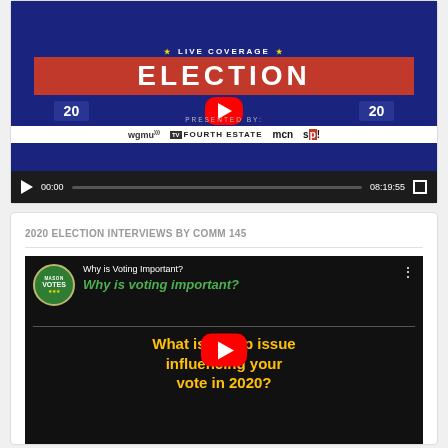[Figure (screenshot): YouTube video embed showing Live Coverage Election 2020 broadcast, presented by WGMU, Fourth Estate, MCN, and SP logos. Video controls show 00:00 current time and 08:19:55 total duration.]
2020 ELECTION INTERVIEWS BY COMM 145
[Figure (screenshot): YouTube video embed for Mason Votes channel: 'Why is Voting Important?' with subtitle text 'Why is voting important?' in green and 'What is [top] issue influencing your vote in 2020?' in gold/yellow on black background.]